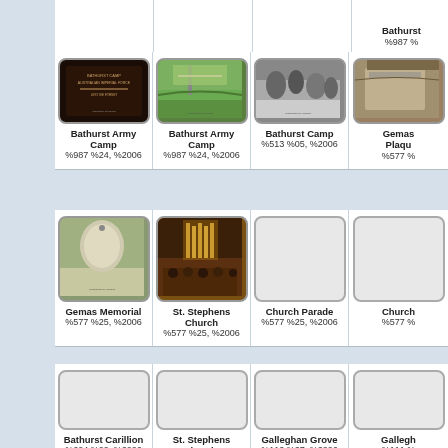[Figure (photo): Partial top row showing Bathurst item with code %987 %]
Bathurst
%987 %
[Figure (photo): Bathurst Army Camp - memorial plaque photo]
Bathurst Army Camp
%987 %24, %2006
[Figure (photo): Bathurst Army Camp - park/memorial grounds photo]
Bathurst Army Camp
%987 %24, %2006
[Figure (photo): Bathurst Camp - black and white historical photo]
Bathurst Camp
%513 %05, %2006
[Figure (photo): Gemas Plaqu - stone/plaque photo (partially visible)]
Gemas
Plaqu
%577 %
[Figure (photo): Gemas Memorial - stone cylindrical memorial]
Gemas Memorial
%577 %25, %2006
[Figure (photo): St. Stephens Church interior]
St. Stephens Church
%577 %25, %2006
[Figure (photo): Church Parade - empty placeholder]
Church Parade
%577 %25, %2006
[Figure (photo): Church - empty placeholder (partially visible)]
Church
%577 %
[Figure (photo): Bathurst Carillion - empty placeholder]
Bathurst Carillion
%604 %09, %2006
[Figure (photo): St. Stephens Church Sydney - empty placeholder]
St. Stephens Church, Sydney
%558 %02, %2006
[Figure (photo): Galleghan Grove - empty placeholder]
Galleghan Grove
%112 %27, %2006
[Figure (photo): Gallegh - empty placeholder (partially visible)]
Gallegh
%111 %